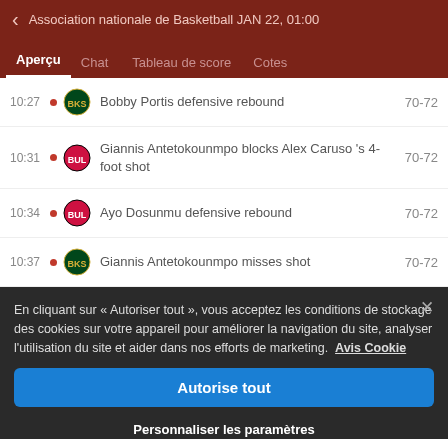Association nationale de Basketball JAN 22, 01:00
Aperçu | Chat | Tableau de score | Cotes
10:27 • Bobby Portis defensive rebound 70-72
10:31 • Giannis Antetokounmpo blocks Alex Caruso 's 4-foot shot 70-72
10:34 • Ayo Dosunmu defensive rebound 70-72
10:37 • Giannis Antetokounmpo misses shot 70-72
En cliquant sur « Autoriser tout », vous acceptez les conditions de stockage des cookies sur votre appareil pour améliorer la navigation du site, analyser l'utilisation du site et aider dans nos efforts de marketing. Avis Cookie
Autorise tout
Personnaliser les paramètres